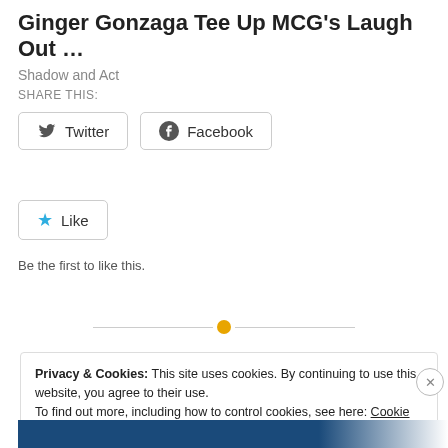Ginger Gonzaga Tee Up MCG's Laugh Out …
Shadow and Act
SHARE THIS:
[Figure (other): Twitter and Facebook share buttons]
[Figure (other): Like button with star icon]
Be the first to like this.
[Figure (other): Horizontal divider with orange dot in center]
Privacy & Cookies: This site uses cookies. By continuing to use this website, you agree to their use. To find out more, including how to control cookies, see here: Cookie Policy
Close and accept